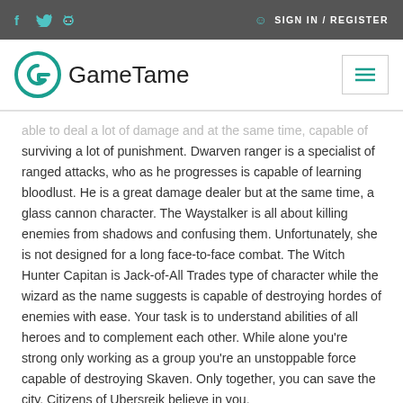SIGN IN / REGISTER
[Figure (logo): GameTame logo with stylized G icon and hamburger menu button]
able to deal a lot of damage and at the same time, capable of surviving a lot of punishment. Dwarven ranger is a specialist of ranged attacks, who as he progresses is capable of learning bloodlust. He is a great damage dealer but at the same time, a glass cannon character. The Waystalker is all about killing enemies from shadows and confusing them. Unfortunately, she is not designed for a long face-to-face combat. The Witch Hunter Capitan is Jack-of-All Trades type of character while the wizard as the name suggests is capable of destroying hordes of enemies with ease. Your task is to understand abilities of all heroes and to complement each other. While alone you're strong only working as a group you're an unstoppable force capable of destroying Skaven. Only together, you can save the city. Citizens of Ubersreik believe in you.
A lot of loot for you to find